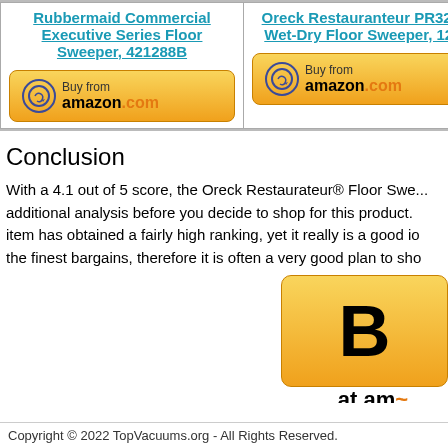| Product 1 | Product 2 | Product 3 (partial) |
| --- | --- | --- |
| Rubbermaid Commercial Executive Series Floor Sweeper, 421288B | Oreck Restauranteur PR3200 Wet-Dry Floor Sweeper, 12.5 | (partial) |
Conclusion
With a 4.1 out of 5 score, the Oreck Restaurateur® Floor Sweeper needs additional analysis before you decide to shop for this product. This item has obtained a fairly high ranking, yet it really is a good idea to find the finest bargains, therefore it is often a very good plan to shop around.
[Figure (other): Partially visible Amazon Buy button (large, cropped on right side)]
Copyright © 2022 TopVacuums.org - All Rights Reserved.